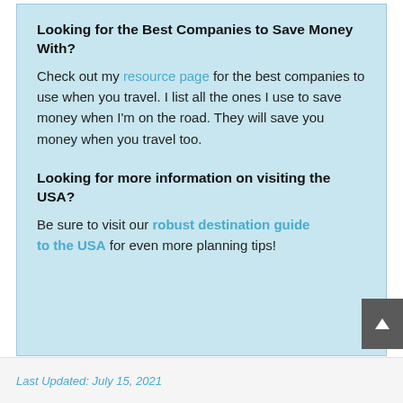Looking for the Best Companies to Save Money With?
Check out my resource page for the best companies to use when you travel. I list all the ones I use to save money when I'm on the road. They will save you money when you travel too.
Looking for more information on visiting the USA?
Be sure to visit our robust destination guide to the USA for even more planning tips!
Last Updated: July 15, 2021